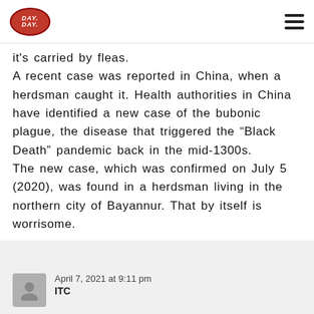DAY DAY [logo] [hamburger menu]
it's carried by fleas. A recent case was reported in China, when a herdsman caught it. Health authorities in China have identified a new case of the bubonic plague, the disease that triggered the “Black Death” pandemic back in the mid-1300s. The new case, which was confirmed on July 5 (2020), was found in a herdsman living in the northern city of Bayannur. That by itself is worrisome.
April 7, 2021 at 9:11 pm
ITC